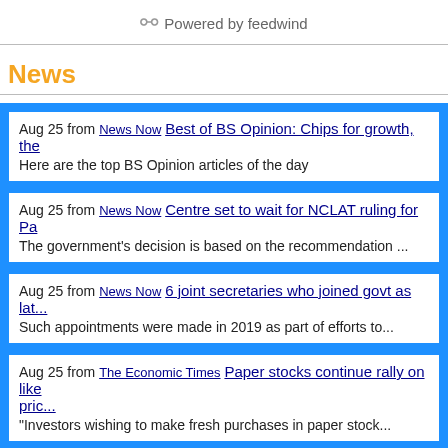Powered by feedwind
News
Aug 25 from News Now Best of BS Opinion: Chips for growth, the... Here are the top BS Opinion articles of the day
Aug 25 from News Now Centre set to wait for NCLAT ruling for Pa... The government's decision is based on the recommendation ...
Aug 25 from News Now 6 joint secretaries who joined govt as lat... Such appointments were made in 2019 as part of efforts to...
Aug 25 from The Economic Times Paper stocks continue rally on like pric... "Investors wishing to make fresh purchases in paper stock...
Aug 25 from The Economic Times Torrent Pharma set to acquire Cur...